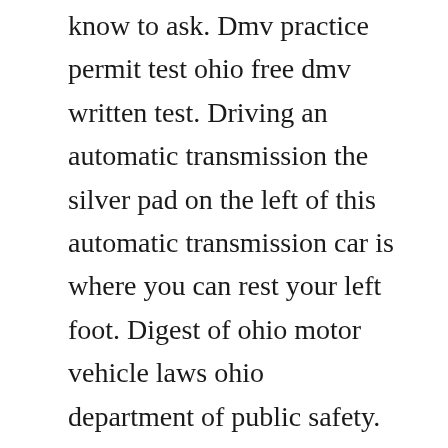know to ask. Dmv practice permit test ohio free dmv written test. Driving an automatic transmission the silver pad on the left of this automatic transmission car is where you can rest your left foot. Digest of ohio motor vehicle laws ohio department of public safety. The commercial learners permit allows you to drive a tractor trailer as long as you have a licensed cdl holder in the vehicle with you. Practice your oh drivers license test the unlimited number of times online for free. Ohio drivers license manual in order to apply for your drivers license you must first pass a